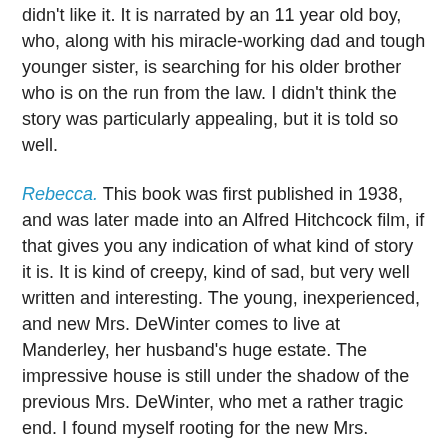didn't like it. It is narrated by an 11 year old boy, who, along with his miracle-working dad and tough younger sister, is searching for his older brother who is on the run from the law. I didn't think the story was particularly appealing, but it is told so well.
Rebecca. This book was first published in 1938, and was later made into an Alfred Hitchcock film, if that gives you any indication of what kind of story it is. It is kind of creepy, kind of sad, but very well written and interesting. The young, inexperienced, and new Mrs. DeWinter comes to live at Manderley, her husband's huge estate. The impressive house is still under the shadow of the previous Mrs. DeWinter, who met a rather tragic end. I found myself rooting for the new Mrs. DeWinter (her first name is never mentioned) and hoping for a happy ending. I've never seen the movie, but I certainly enjoyed the book.
Stealing Athena. While a work of fiction, this book is based on the exploits of Lord Elgin, a British Earl who took vast amounts of Greek sculpture and art from sites like the Parthenon and transported them to England at the turn of the